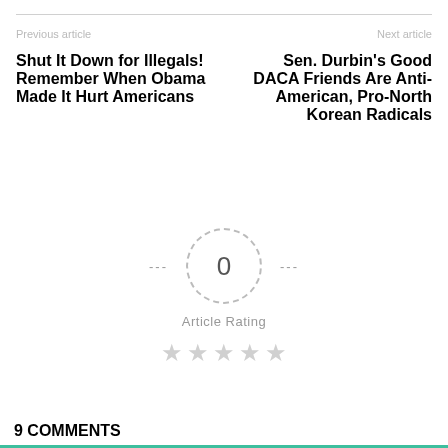Previous article
Next article
Shut It Down for Illegals! Remember When Obama Made It Hurt Americans
Sen. Durbin's Good DACA Friends Are Anti-American, Pro-North Korean Radicals
[Figure (other): Article rating widget showing a dashed circle with 0 in the center, dashes on both sides, and label 'Article Rating' below, with 5 empty grey stars underneath]
9 COMMENTS